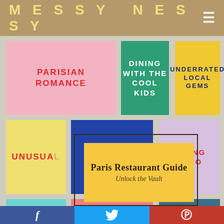MESSY NESSY
[Figure (screenshot): Grid of colorful category tiles: PARISIAN ROMANCE (pink), DINING WITH THE COOL KIDS (teal), UNDERRATED LOCAL GEMS (yellow), UNUSUAL (yellow-green), blue tile, DINING SOLO (lavender), SPRING & SUMMER (teal), COSY MOOD LIFTERS (salmon), ON A BUDGET (steel blue)]
Paris Restaurant Guide
Unlock the Vault
f  Twitter bird  P